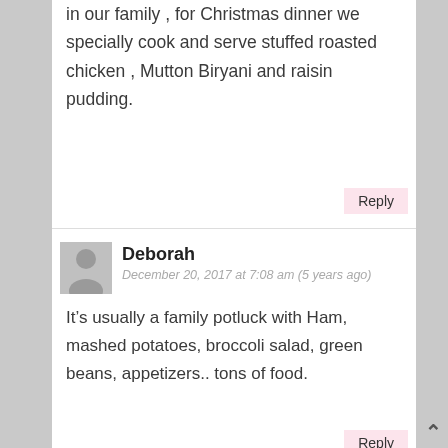in our family , for Christmas dinner we specially cook and serve stuffed roasted chicken , Mutton Biryani and raisin pudding.
Reply
Deborah
December 20, 2017 at 7:08 am (5 years ago)
It’s usually a family potluck with Ham, mashed potatoes, broccoli salad, green beans, appetizers.. tons of food.
Reply
Mandy Kaltner
December 20, 2017 at 7:10 am (5 years ago)
We cook our friends & family a traditional